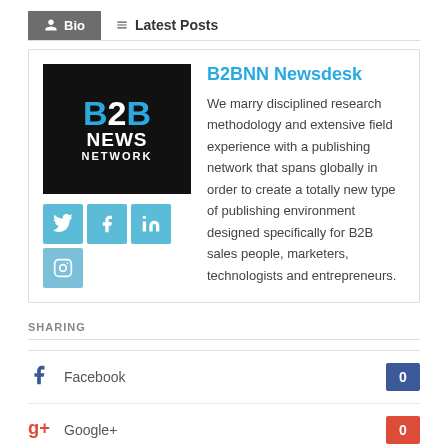Bio | Latest Posts
[Figure (logo): B2B News Network logo — black background with B2B in blue/white and NEWS NETWORK in white text]
B2BNN Newsdesk
We marry disciplined research methodology and extensive field experience with a publishing network that spans globally in order to create a totally new type of publishing environment designed specifically for B2B sales people, marketers, technologists and entrepreneurs.
SHARING
Facebook 0
Google+ 0
Email this article